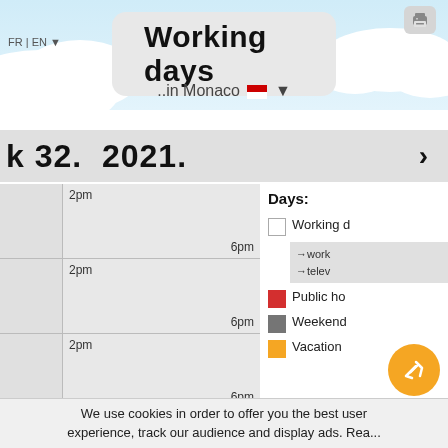Working days
..in Monaco ▼
k 32. 2021. >
[Figure (other): Weekly calendar view showing time slots from 2pm to 6pm for multiple days (rows with left grey date column and right schedule area). Partially visible rows showing 5 day slots.]
Days:
Working d
→work
→telev
Public ho
Weekend
Vacation
We use cookies in order to offer you the best user experience, track our audience and display ads. Rea...